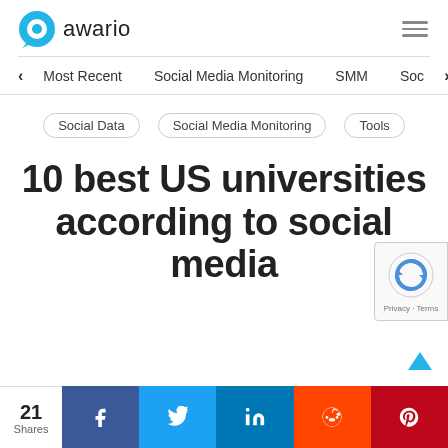awario
Most Recent   Social Media Monitoring   SMM   Soc
Social Data   Social Media Monitoring   Tools
10 best US universities according to social media
21 Shares
f  Twitter  in  Reddit  Pinterest